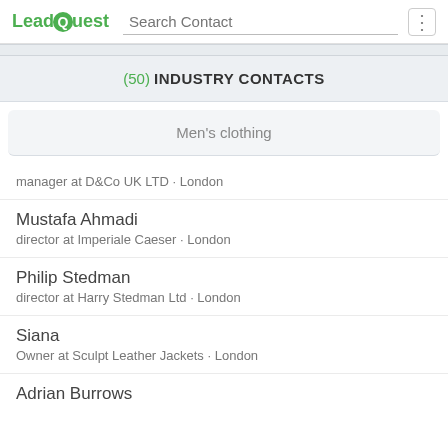LeadQuest | Search Contact
(50) INDUSTRY CONTACTS
Men's clothing
manager at D&Co UK LTD · London
Mustafa Ahmadi
director at Imperiale Caeser · London
Philip Stedman
director at Harry Stedman Ltd · London
Siana
Owner at Sculpt Leather Jackets · London
Adrian Burrows